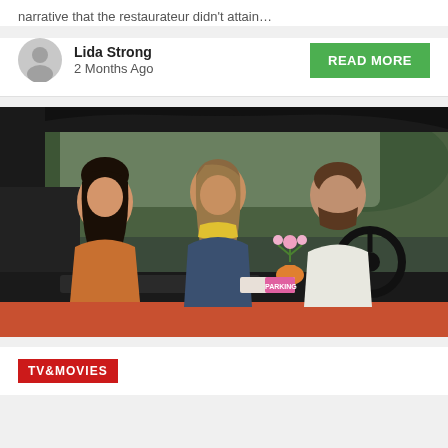narrative that the restaurateur didn't attain...
Lida Strong
2 Months Ago
READ MORE
[Figure (photo): Three people sitting in a car viewed through the windshield. A woman with dark hair on the left wearing an orange top, a woman in the middle with lighter hair wearing a denim jacket and yellow scarf, and a bearded man on the right in a white shirt driving. A small orange flower pot ornament sits on the dashboard. The car exterior is orange/red.]
TV&MOVIES